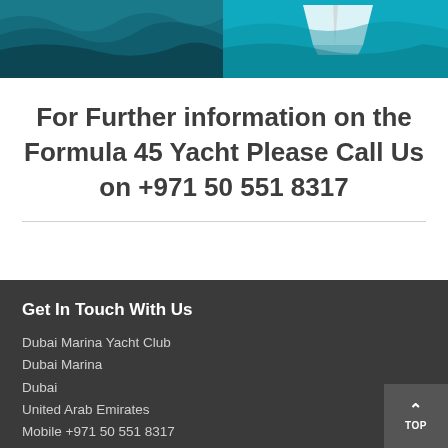[Figure (photo): Two nautical/yacht photos side by side: left shows ocean waves from aerial view, right shows a yacht from aerial view on turquoise water]
For Further information on the Formula 45 Yacht Please Call Us on +971 50 551 8317
Get In Touch With Us
Dubai Marina Yacht Club
Dubai Marina
Dubai
United Arab Emirates
Mobile +971 50 551 8317
Office +971 44579479